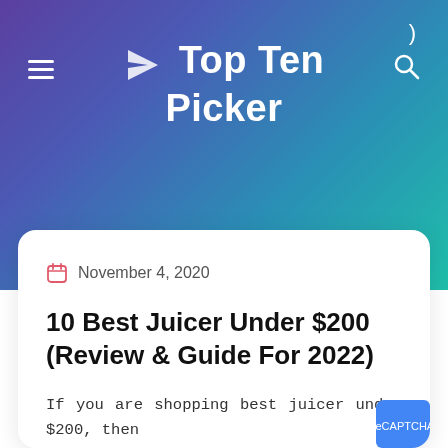Top Ten Picker
November 4, 2020
10 Best Juicer Under $200 (Review & Guide For 2022)
If you are shopping best juicer under $200, then you probably have checked it out on var...